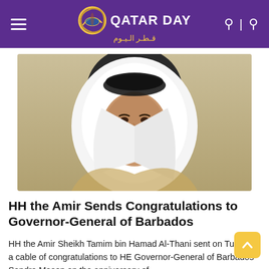QATAR DAY قطر اليوم
[Figure (photo): Portrait photo of HH the Amir Sheikh Tamim bin Hamad Al-Thani wearing white traditional Arab dress (thobe and ghutra) with black agal, smiling, against a beige/tan background.]
HH the Amir Sends Congratulations to Governor-General of Barbados
HH the Amir Sheikh Tamim bin Hamad Al-Thani sent on Tuesday a cable of congratulations to HE Governor-General of Barbados Sandra Mason on the anniversary of